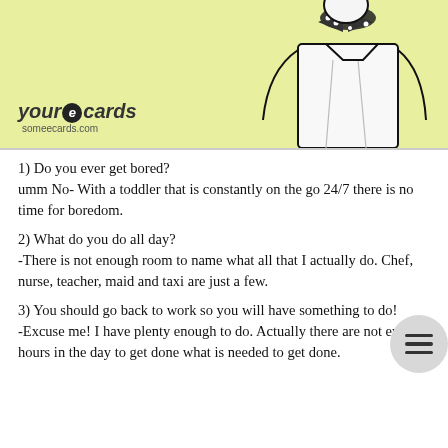[Figure (illustration): someecards 'your e-cards someecards.com' logo on yellow-green background with illustrated man in white shirt and polka-dot bow tie]
1) Do you ever get bored?
umm No- With a toddler that is constantly on the go 24/7 there is no time for boredom.
2) What do you do all day?
-There is not enough room to name what all that I actually do. Chef, nurse, teacher, maid and taxi are just a few.
3) You should go back to work so you will have something to do!
-Excuse me! I have plenty enough to do. Actually there are not enough hours in the day to get done what is needed to get done.